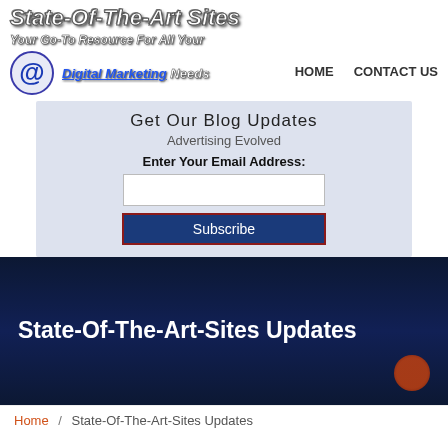State-Of-The-Art Sites
Your Go-To Resource For All Your Digital Marketing Needs
Get Our Blog Updates
HOME   CONTACT US
Advertising Evolved   Have a question?
Enter Your Email Address:
Subscribe
State-Of-The-Art-Sites Updates
Home / State-Of-The-Art-Sites Updates